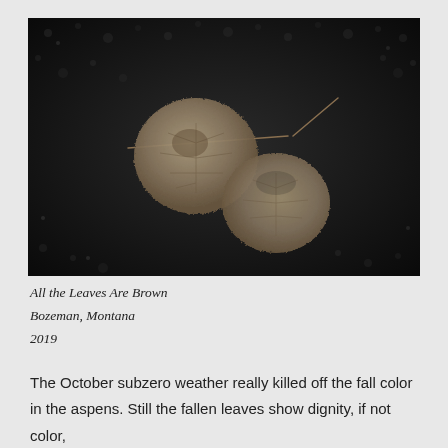[Figure (photo): Two dried, brown fallen aspen leaves lying on dark wet asphalt or gravel. The leaves are curled and tattered, with visible veins. The background is very dark, almost black, textured ground.]
All the Leaves Are Brown
Bozeman, Montana
2019
The October subzero weather really killed off the fall color in the aspens. Still the fallen leaves show dignity, if not color,